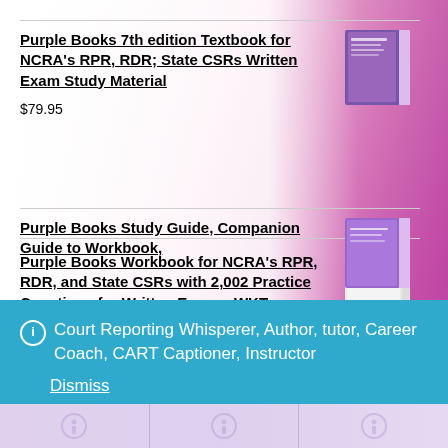Purple Books 7th edition Textbook for NCRA's RPR, RDR; State CSRs Written Exam Study Material
$79.95
Purple Books Workbook for NCRA's RPR, RDR, and State CSRs with 2,002 Practice Questions for Written Exams, WKTs
$52.95
Purple Books Study Guide, Companion Guide to Workbook,
Court Reporting Whisperer, Author, tutor, Career Coach, CART Captioner, Instructor
Dismiss